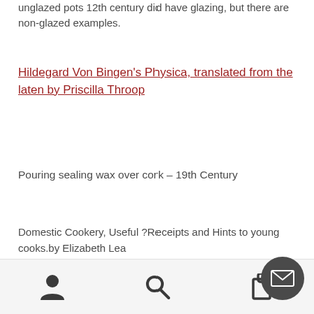unglazed pots 12th century did have glazing, but there are non-glazed examples.
Hildegard Von Bingen's Physica, translated from the laten by Priscilla Throop
Pouring sealing wax over cork – 19th Century
Domestic Cookery, Useful ?Receipts and Hints to young cooks.by Elizabeth Lea (1859)https://books.google.com.au/books?id=ZYiWP4v_y_sC&pg=PA217&lpg=PA217&dq=with+a+sto